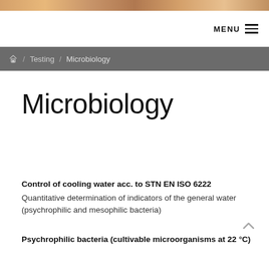[Figure (photo): Header image — horizontal strip with warm orange/brown gradient, appears to be a building or industrial scene photo crop]
MENU ≡
🏠 / Testing / Microbiology
Microbiology
Control of cooling water acc. to STN EN ISO 6222
Quantitative determination of indicators of the general water (psychrophilic and mesophilic bacteria)
Psychrophilic bacteria (cultivable microorganisms at 22 °C)